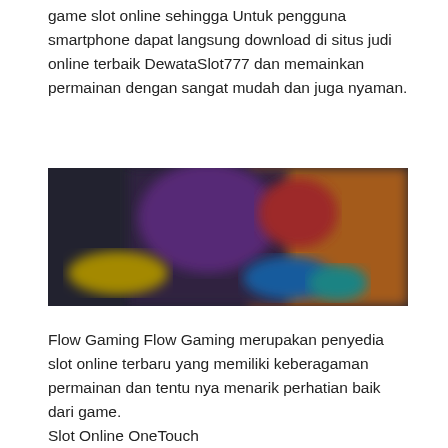game slot online sehingga Untuk pengguna smartphone dapat langsung download di situs judi online terbaik DewataSlot777 dan memainkan permainan dengan sangat mudah dan juga nyaman.
[Figure (photo): Blurred/pixelated image of online slot game interface with dark background, purple, blue, orange and teal colored game elements]
Flow Gaming Flow Gaming merupakan penyedia slot online terbaru yang memiliki keberagaman permainan dan tentu nya menarik perhatian baik dari game.
Slot Online OneTouch
Slot OneTouch memulai operasinya pada tahun 2015 setelah menemukan celah besar di pasar untuk permainan meja seluler